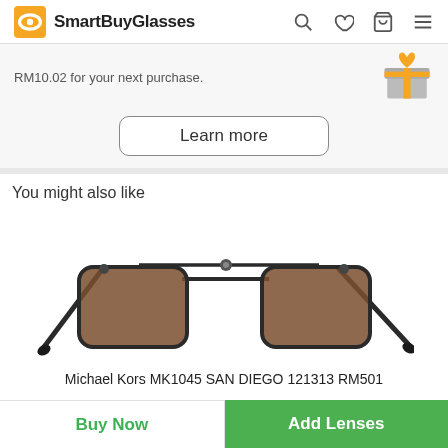SmartBuyGlasses
RM10.02 for your next purchase.
Learn more
You might also like
[Figure (photo): Michael Kors MK1045 SAN DIEGO 121313 sunglasses with dark metal aviator frames and brown lenses]
Michael Kors MK1045 SAN DIEGO 121313 RM501
Buy Now
Add Lenses